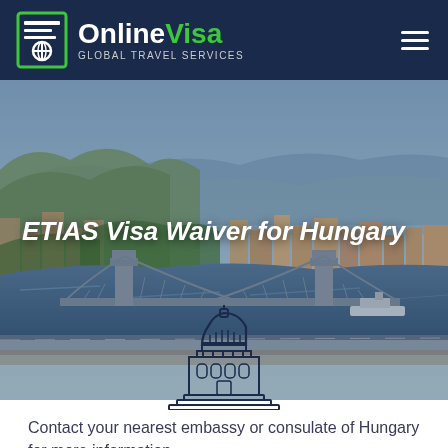OnlineVisa GLOBAL TRAVEL SERVICES
[Figure (photo): Aerial view of Budapest with the Danube River, Chain Bridge, and city skyline]
ETIAS Visa Waiver for Hungary
[Figure (illustration): Line icon of a government building / capitol with dome]
Contact your nearest embassy or consulate of Hungary for more information.